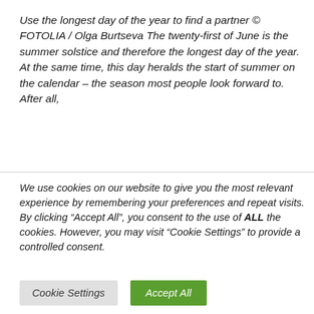Use the longest day of the year to find a partner © FOTOLIA / Olga Burtseva The twenty-first of June is the summer solstice and therefore the longest day of the year. At the same time, this day heralds the start of summer on the calendar – the season most people look forward to. After all,
We use cookies on our website to give you the most relevant experience by remembering your preferences and repeat visits. By clicking “Accept All”, you consent to the use of ALL the cookies. However, you may visit “Cookie Settings” to provide a controlled consent.
Cookie Settings | Accept All